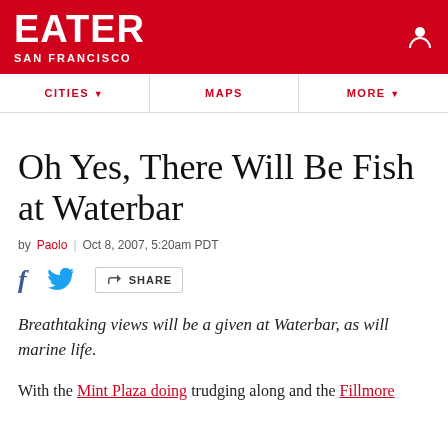EATER SAN FRANCISCO
CITIES ▾ | MAPS | MORE ▾
Oh Yes, There Will Be Fish at Waterbar
by Paolo | Oct 8, 2007, 5:20am PDT
f [facebook] [twitter] [share] SHARE
Breathtaking views will be a given at Waterbar, as will marine life.
With the Mint Plaza doing trudging along and the Fillmore